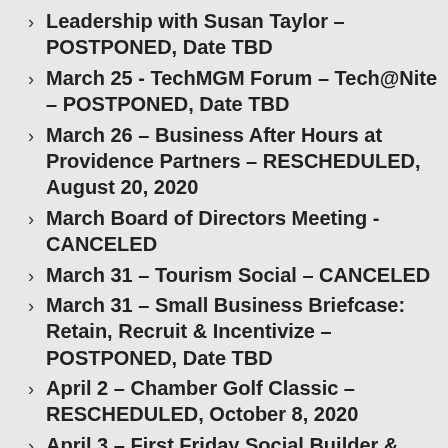Leadership with Susan Taylor – POSTPONED, Date TBD
March 25 - TechMGM Forum – Tech@Nite – POSTPONED, Date TBD
March 26 – Business After Hours at Providence Partners – RESCHEDULED, August 20, 2020
March Board of Directors Meeting - CANCELED
March 31 – Tourism Social – CANCELED
March 31 – Small Business Briefcase: Retain, Recruit & Incentivize – POSTPONED, Date TBD
April 2 – Chamber Golf Classic – RESCHEDULED, October 8, 2020
April 3 – First Friday Social Builder & Social Hour – POSTPONED, Date TBD
April 7 – Eggs & Issues with Congressman